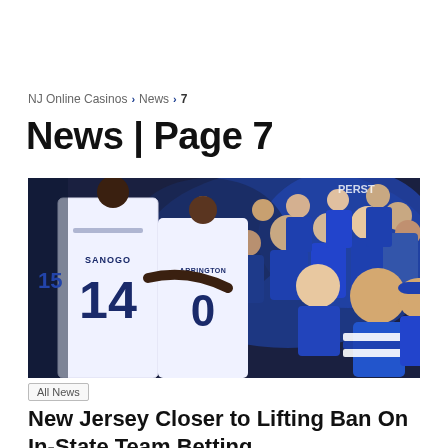NJ Online Casinos > News > 7
News | Page 7
[Figure (photo): Basketball players in white jerseys numbered 14 (SANOGO) and 0 (ARRINGTON) celebrating with a crowd of fans dressed in blue in the background]
All News
New Jersey Closer to Lifting Ban On In-State Team Betting